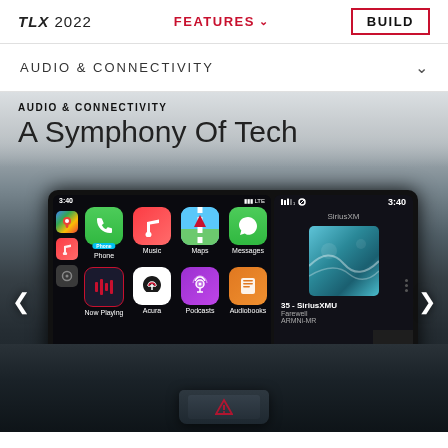TLX 2022   FEATURES ∨   BUILD
AUDIO & CONNECTIVITY
[Figure (photo): Hero image of 2022 Acura TLX infotainment screen showing Apple CarPlay interface with apps (Phone, Music, Maps, Messages, Now Playing, Acura, Podcasts, Audiobooks) and SiriusXM panel, set against car interior dashboard background. Overlay text reads AUDIO & CONNECTIVITY and A Symphony Of Tech.]